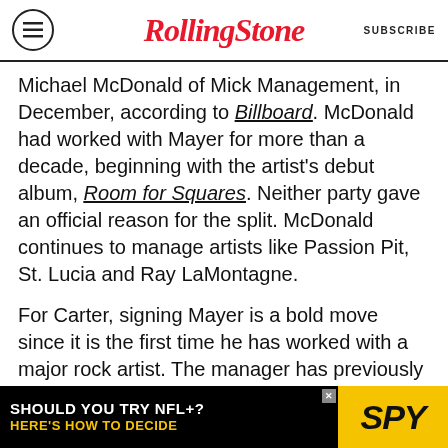RollingStone  SUBSCRIBE
Michael McDonald of Mick Management, in December, according to Billboard. McDonald had worked with Mayer for more than a decade, beginning with the artist's debut album, Room for Squares. Neither party gave an official reason for the split. McDonald continues to manage artists like Passion Pit, St. Lucia and Ray LaMontagne.
For Carter, signing Mayer is a bold move since it is the first time he has worked with a major rock artist. The manager has previously worked with hip-hop artists like Eve and Nelly and pop artists like Gaga; currently, his management company Atom Factory manages John Legend, rapper KiNear and violinist Lindsey Stirling, among
[Figure (other): Advertisement banner: 'SHOULD YOU TRY NFL+? HERE'S HOW TO DECIDE' with SPY logo in yellow on black background]